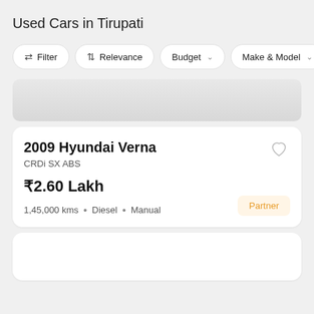Used Cars in Tirupati
Filter | Relevance | Budget | Make & Model
[Figure (other): Advertisement banner placeholder with gradient grey background]
2009 Hyundai Verna
CRDi SX ABS
₹2.60 Lakh
1,45,000 kms • Diesel • Manual
Partner